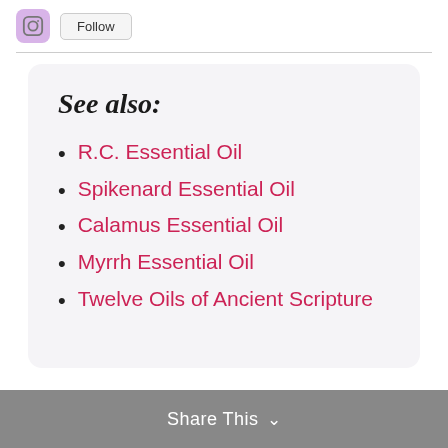[Figure (other): Instagram icon button (purple/lavender rounded square) and a Follow button]
See also:
R.C. Essential Oil
Spikenard Essential Oil
Calamus Essential Oil
Myrrh Essential Oil
Twelve Oils of Ancient Scripture
Share This